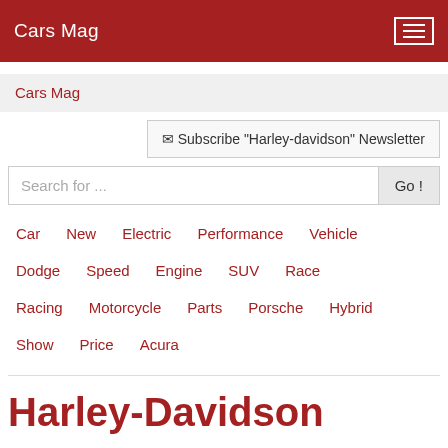Cars Mag
Cars Mag
✉ Subscribe "Harley-davidson" Newsletter
Search for ...
Car
New
Electric
Performance
Vehicle
Dodge
Speed
Engine
SUV
Race
Racing
Motorcycle
Parts
Porsche
Hybrid
Show
Price
Acura
Harley-Davidson